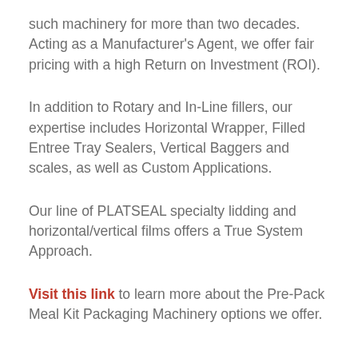such machinery for more than two decades. Acting as a Manufacturer's Agent, we offer fair pricing with a high Return on Investment (ROI).
In addition to Rotary and In-Line fillers, our expertise includes Horizontal Wrapper, Filled Entree Tray Sealers, Vertical Baggers and scales, as well as Custom Applications.
Our line of PLATSEAL specialty lidding and horizontal/vertical films offers a True System Approach.
Visit this link to learn more about the Pre-Pack Meal Kit Packaging Machinery options we offer.